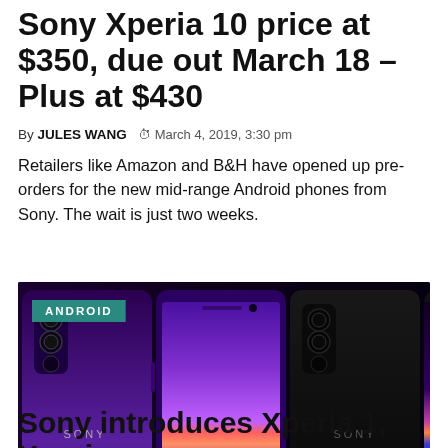Sony Xperia 10 price at $350, due out March 18 – Plus at $430
By JULES WANG  🕐 March 4, 2019, 3:30 pm
Retailers like Amazon and B&H have opened up pre-orders for the new mid-range Android phones from Sony. The wait is just two weeks.
[Figure (photo): Sony Xperia 1 smartphones shown from multiple angles in purple and black colorways, with an ANDROID badge overlay in teal.]
Sony introduces Xperia 1, Xperia